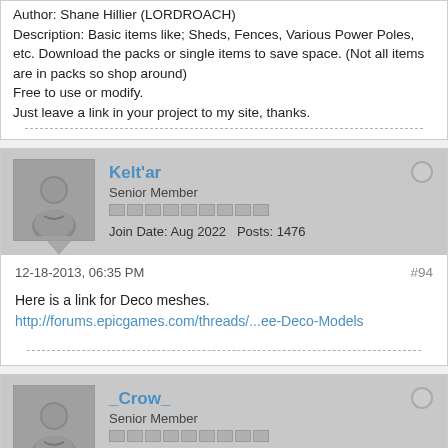Author: Shane Hillier (LORDROACH)
Description: Basic items like; Sheds, Fences, Various Power Poles, etc. Download the packs or single items to save space. (Not all items are in packs so shop around)
Free to use or modify.
Just leave a link in your project to my site, thanks.
Kelt'ar
Senior Member
Join Date: Aug 2022  Posts: 1476
12-18-2013, 06:35 PM
#94
Here is a link for Deco meshes.
http://forums.epicgames.com/threads/...ee-Deco-Models
_Crow_
Senior Member
Join Date: Aug 2022  Posts: 125